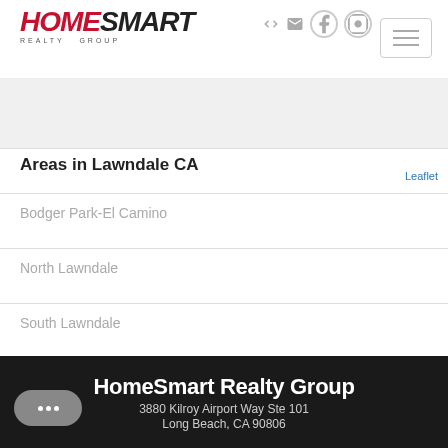[Figure (logo): HomeSmart Realty Group logo - red italic HOME, black italic SMART, with REALTY GROUP subtitle]
[Figure (other): Navigation icons: login arrow, envelope, Facebook, Instagram circles]
[Figure (other): Hamburger menu button with three horizontal lines]
[Figure (map): Leaflet map area showing Lawndale CA]
Leaflet
Areas in Lawndale CA
Bodger Park-El Camino
North Lawndale
South Lawndale
HomeSmart Realty Group
3880 Kilroy Airport Way Ste 101
Long Beach, CA 90806